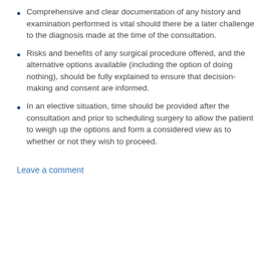Comprehensive and clear documentation of any history and examination performed is vital should there be a later challenge to the diagnosis made at the time of the consultation.
Risks and benefits of any surgical procedure offered, and the alternative options available (including the option of doing nothing), should be fully explained to ensure that decision-making and consent are informed.
In an elective situation, time should be provided after the consultation and prior to scheduling surgery to allow the patient to weigh up the options and form a considered view as to whether or not they wish to proceed.
Leave a comment